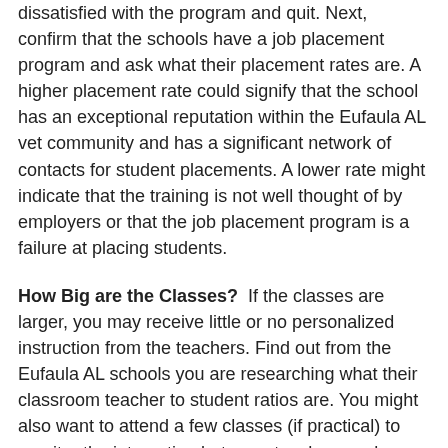dissatisfied with the program and quit. Next, confirm that the schools have a job placement program and ask what their placement rates are. A higher placement rate could signify that the school has an exceptional reputation within the Eufaula AL vet community and has a significant network of contacts for student placements. A lower rate might indicate that the training is not well thought of by employers or that the job placement program is a failure at placing students.
How Big are the Classes? If the classes are larger, you may receive little or no personalized instruction from the teachers. Find out from the Eufaula AL schools you are researching what their classroom teacher to student ratios are. You might also want to attend a few classes (if practical) to monitor the interaction between teachers and students. Ask for evaluations from students regarding the quality of instruction. Also, talk with the instructors and find out what their qualifications are as well as the methods of teaching...